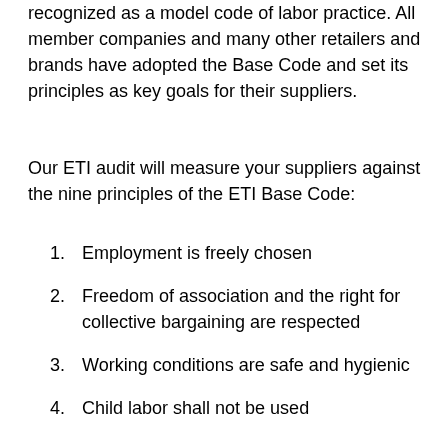recognized as a model code of labor practice. All member companies and many other retailers and brands have adopted the Base Code and set its principles as key goals for their suppliers.
Our ETI audit will measure your suppliers against the nine principles of the ETI Base Code:
1. Employment is freely chosen
2. Freedom of association and the right for collective bargaining are respected
3. Working conditions are safe and hygienic
4. Child labor shall not be used
5. Living wages are paid
6. Working hours are not excessive
7. No discrimination is practiced